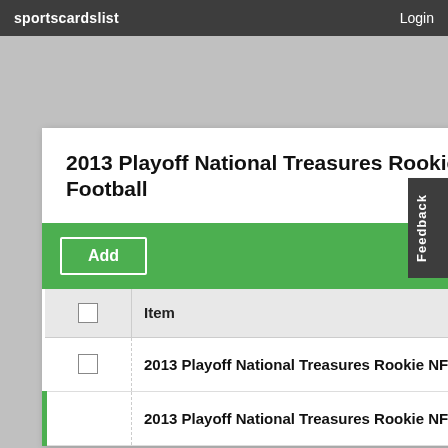sportscardslist    Login
2013 Playoff National Treasures Rookie Nfl Gear Trios Materials Prime Football
|  | Item |
| --- | --- |
|  | 2013 Playoff National Treasures Rookie NFL Gear Trios Materials Prime #1 Aaron Dobson /25 |
|  | 2013 Playoff National Treasures Rookie NFL Gear Trios Materials Prime #2 Andre Ellington /25 |